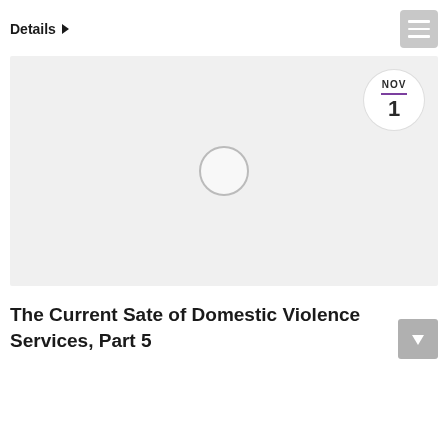Details ▶
[Figure (other): Light grey image placeholder area with a circular play button icon in the center and a date badge (NOV 1) in the top-right corner]
The Current Sate of Domestic Violence Services, Part 5